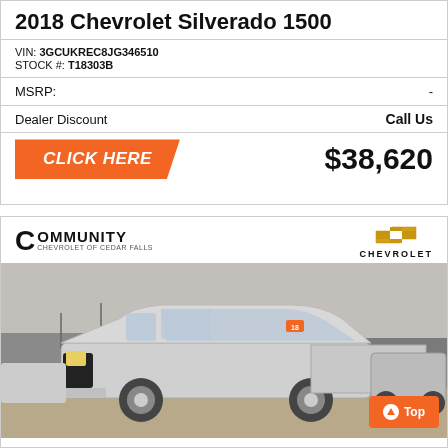2018 Chevrolet Silverado 1500
VIN: 3GCUKREC8JG346510
STOCK #: T18303B
| MSRP: | - |
| Dealer Discount | Call Us |
CLICK HERE   $38,620
[Figure (photo): 2018 Chevrolet Silverado 1500 silver truck parked at Community Chevrolet of Cedar Falls dealership lot, front 3/4 view. Dealer logo and Chevrolet bowtie logo visible in header.]